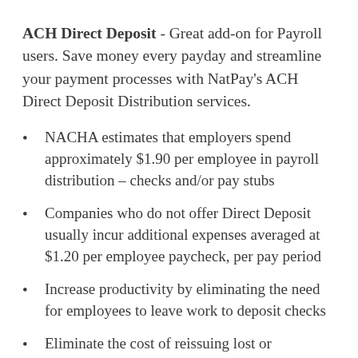ACH Direct Deposit - Great add-on for Payroll users. Save money every payday and streamline your payment processes with NatPay's ACH Direct Deposit Distribution services.
NACHA estimates that employers spend approximately $1.90 per employee in payroll distribution – checks and/or pay stubs
Companies who do not offer Direct Deposit usually incur additional expenses averaged at $1.20 per employee paycheck, per pay period
Increase productivity by eliminating the need for employees to leave work to deposit checks
Eliminate the cost of reissuing lost or